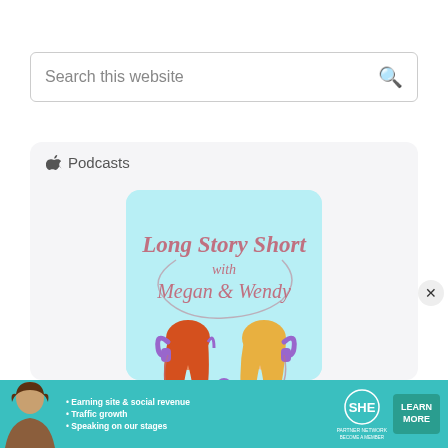[Figure (screenshot): Search box with placeholder text 'Search this website' and a magnifying glass icon on the right]
[Figure (screenshot): Apple Podcasts widget card showing the 'Long Story Short with Megan & Wendy' podcast artwork. The artwork features two illustrated women wearing headphones facing each other with a microphone between them, on a light teal background with pink script text.]
[Figure (infographic): SHE Partner Network advertisement banner at the bottom. Shows a woman, bullet points: 'Earning site & social revenue', 'Traffic growth', 'Speaking on our stages', plus SHE Partner Network logo and 'LEARN MORE' button.]